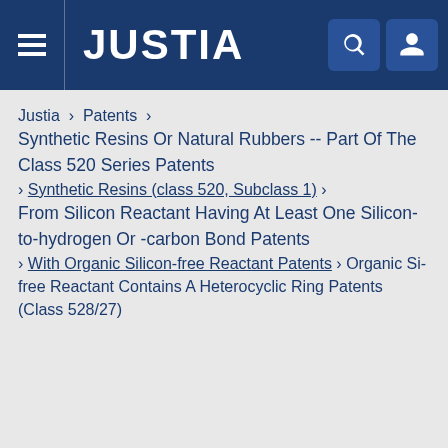JUSTIA
Justia › Patents › Synthetic Resins Or Natural Rubbers -- Part Of The Class 520 Series Patents › Synthetic Resins (class 520, Subclass 1) › From Silicon Reactant Having At Least One Silicon-to-hydrogen Or -carbon Bond Patents › With Organic Silicon-free Reactant Patents › Organic Si-free Reactant Contains A Heterocyclic Ring Patents (Class 528/27)